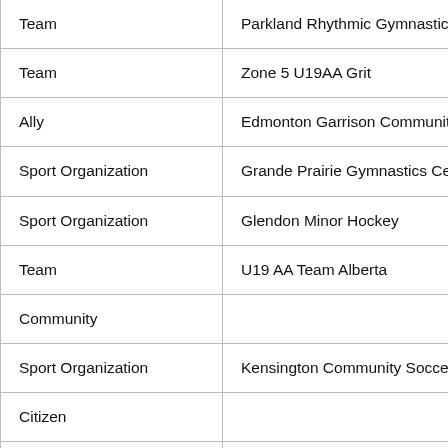| Type | Name |
| --- | --- |
| Team | Parkland Rhythmic Gymnastics Club |
| Team | Zone 5 U19AA Grit |
| Ally | Edmonton Garrison Community & Rec |
| Sport Organization | Grande Prairie Gymnastics Centre |
| Sport Organization | Glendon Minor Hockey |
| Team | U19 AA Team Alberta |
| Community |  |
| Sport Organization | Kensington Community Soccer |
| Citizen |  |
| Sport Organization | Cross Country Alberta |